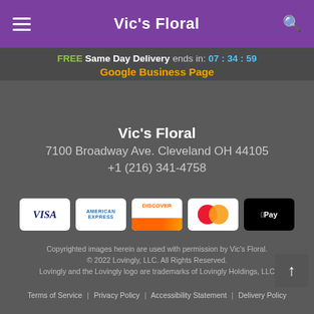Vic's Floral
FREE Same Day Delivery ends in: 07 : 34 : 59
Google Business Page
Vic's Floral
7100 Broadway Ave. Cleveland OH 44105
+1 (216) 341-4758
[Figure (other): Payment method icons: VISA, American Express, Discover, Mastercard, Apple Pay]
Copyrighted images herein are used with permission by Vic's Floral. © 2022 Lovingly, LLC. All Rights Reserved. Lovingly and the Lovingly logo are trademarks of Lovingly Holdings, LLC
Terms of Service | Privacy Policy | Accessibility Statement | Delivery Policy